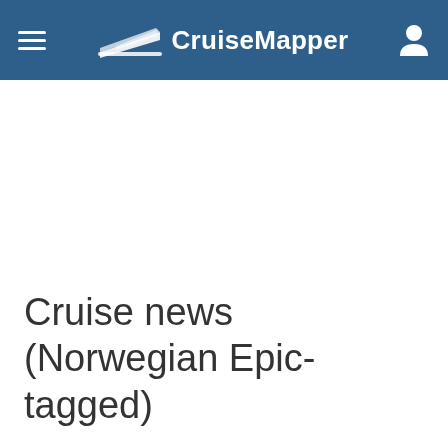CruiseMapper
Cruise news (Norwegian Epic-tagged)